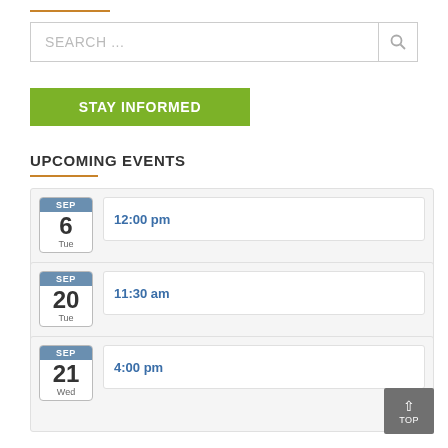[Figure (screenshot): Search bar with placeholder text SEARCH ... and a magnifying glass icon on the right]
[Figure (screenshot): Green button labeled STAY INFORMED]
UPCOMING EVENTS
SEP 6 Tue 12:00 pm
SEP 20 Tue 11:30 am
SEP 21 Wed 4:00 pm